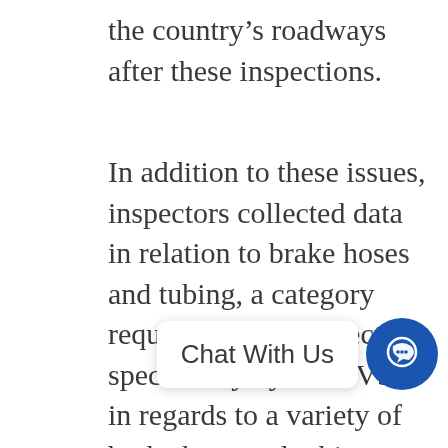the country's roadways after these inspections.
In addition to these issues, inspectors collected data in relation to brake hoses and tubing, a category requested to be inspected specifically by the CVSA in regards to a variety of brake hose and tubing chafing violations, but not out-of-service violations. North America saw 1,725 brake hose and tubing violations during the inspection United States reporting 1,288, Canada reporting 251, and Mexico reporting 186.